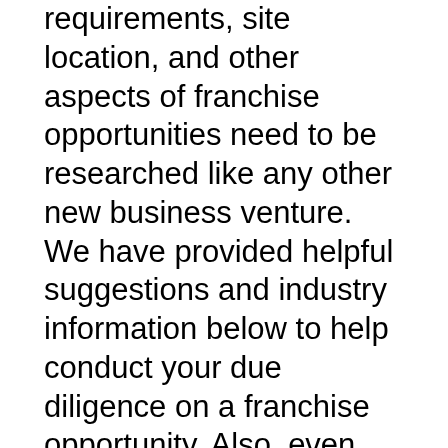requirements, site location, and other aspects of franchise opportunities need to be researched like any other new business venture. We have provided helpful suggestions and industry information below to help conduct your due diligence on a franchise opportunity. Also, even when starting a franchised business, a business owner should develop a comprehensive business plan to assess the feasibility of the business, analyze the local market potential, determine the capital